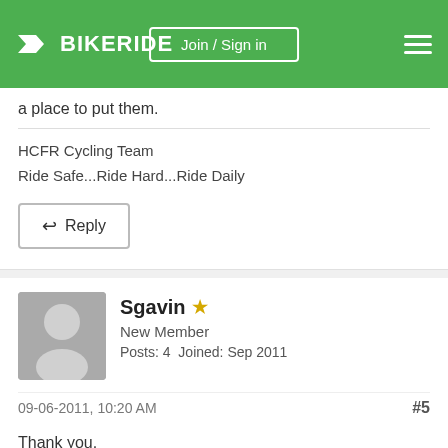BIKERIDE — Join / Sign in
a place to put them.
HCFR Cycling Team
Ride Safe...Ride Hard...Ride Daily
↩ Reply
Sgavin ⭐
New Member
Posts: 4  Joined: Sep 2011
09-06-2011, 10:20 AM   #5
Thank you.
I have plenty of room for bikes and I don't mind